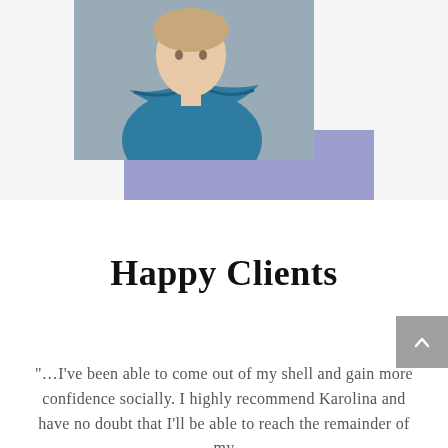[Figure (photo): Person with arms crossed wearing a blue/teal top, photographed from roughly waist up, with a purple/lavender rectangular accent element behind and below]
Happy Clients
"…I've been able to come out of my shell and gain more confidence socially. I highly recommend Karolina and have no doubt that I'll be able to reach the remainder of my